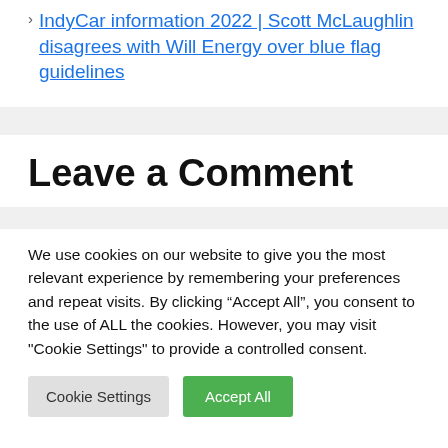IndyCar information 2022 | Scott McLaughlin disagrees with Will Energy over blue flag guidelines
Leave a Comment
We use cookies on our website to give you the most relevant experience by remembering your preferences and repeat visits. By clicking "Accept All", you consent to the use of ALL the cookies. However, you may visit "Cookie Settings" to provide a controlled consent.